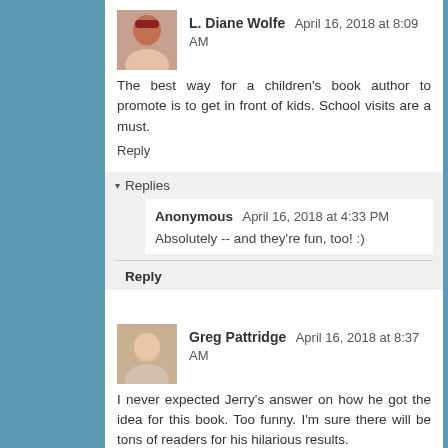L. Diane Wolfe April 16, 2018 at 8:09 AM
The best way for a children's book author to promote is to get in front of kids. School visits are a must.
Reply
Replies
Anonymous April 16, 2018 at 4:33 PM
Absolutely -- and they're fun, too! :)
Reply
Greg Pattridge April 16, 2018 at 8:37 AM
I never expected Jerry's answer on how he got the idea for this book. Too funny. I'm sure there will be tons of readers for his hilarious results.